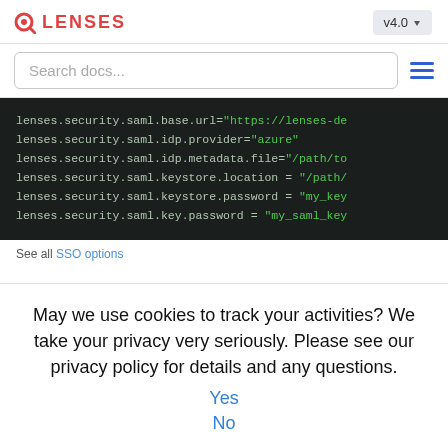LENSES v4.0
Search docs...
[Figure (screenshot): Dark-background code block showing SAML configuration properties for lenses.security.saml]
See all SSO options
May we use cookies to track your activities? We take your privacy very seriously. Please see our privacy policy for details and any questions.
Yes
No